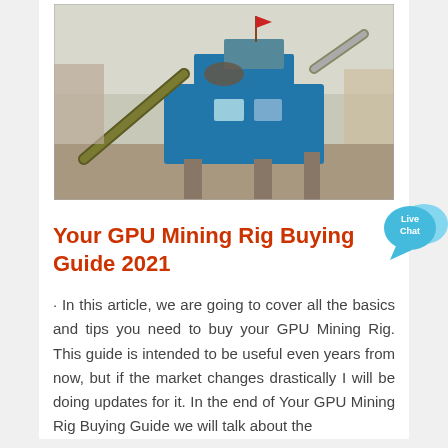[Figure (photo): Industrial mining/crushing equipment — a large blue machine with conveyor belts and support structures at a mining or quarrying site.]
Your GPU Mining Rig Buying Guide 2021
[Figure (other): Live Chat speech bubble icon in cyan/light blue]
· In this article, we are going to cover all the basics and tips you need to buy your GPU Mining Rig. This guide is intended to be useful even years from now, but if the market changes drastically I will be doing updates for it. In the end of Your GPU Mining Rig Buying Guide we will talk about the